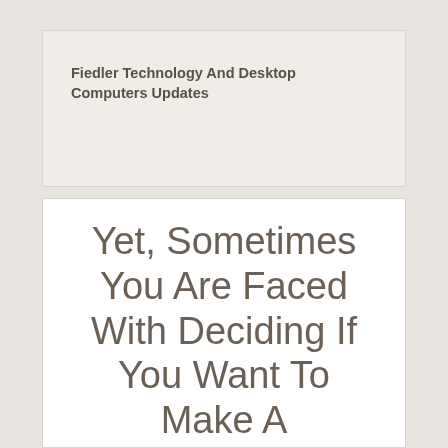Fiedler Technology And Desktop Computers Updates
Yet, Sometimes You Are Faced With Deciding If You Want To Make A